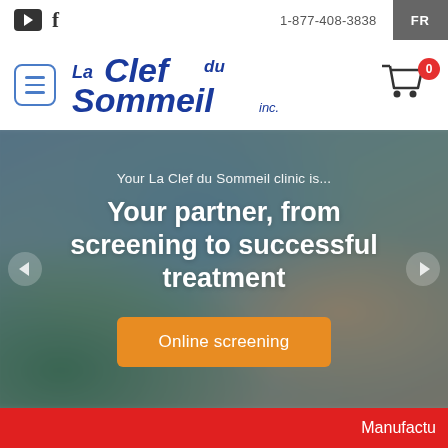1-877-408-3838  FR
[Figure (logo): La Clef du Sommeil inc. logo with menu icon and shopping cart]
Your La Clef du Sommeil clinic is...
Your partner, from screening to successful treatment
Online screening
Manufactu